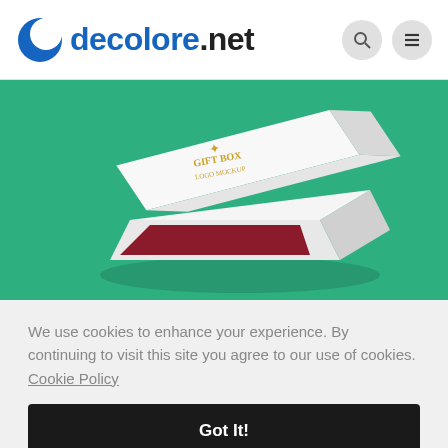decolore.net
[Figure (photo): White gift boxes with gold foil logo mockup on a teal/green background, boxes are open showing red interior]
We use cookies to enhance your experience. By continuing to visit this site you agree to our use of cookies. Cookie Policy
Got It!